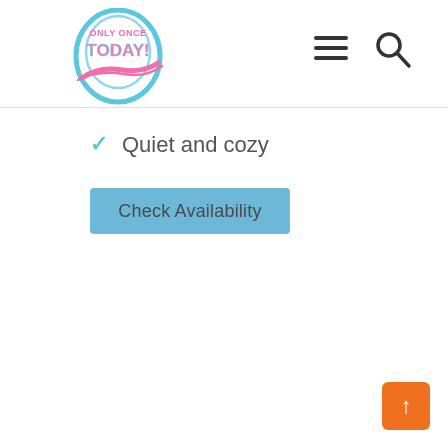[Figure (logo): Only Once Today logo — oval shape with blue border and pink swoosh, text 'Only Once Today' in pink/blue stylized font]
✓ Quiet and cozy
Check Availability
[Figure (other): Orange back-to-top button with upward arrow in bottom-right corner]